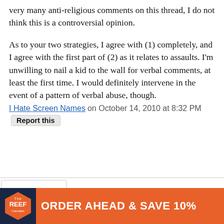very many anti-religious comments on this thread, I do not think this is a controversial opinion.
As to your two strategies, I agree with (1) completely, and I agree with the first part of (2) as it relates to assaults. I'm unwilling to nail a kid to the wall for verbal comments, at least the first time. I would definitely intervene in the event of a pattern of verbal abuse, though.
I Hate Screen Names on October 14, 2010 at 8:32 PM  Report this
[Figure (other): Advertisement banner for The Reef Cannabis: 'ORDER AHEAD & SAVE 10%' with orange hexagon logo on dark navy background]